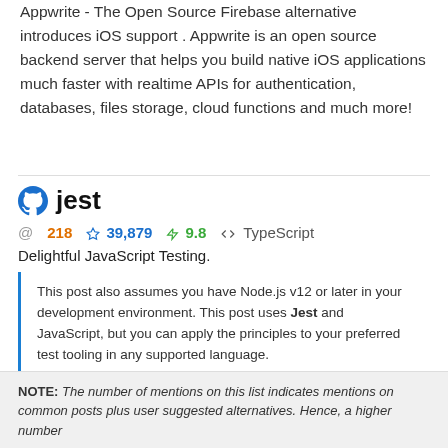Appwrite - The Open Source Firebase alternative introduces iOS support . Appwrite is an open source backend server that helps you build native iOS applications much faster with realtime APIs for authentication, databases, files storage, cloud functions and much more!
jest
@ 218   ☆ 39,879   ⚡ 9.8   <> TypeScript
Delightful JavaScript Testing.
This post also assumes you have Node.js v12 or later in your development environment. This post uses Jest and JavaScript, but you can apply the principles to your preferred test tooling in any supported language.
NOTE: The number of mentions on this list indicates mentions on common posts plus user suggested alternatives. Hence, a higher number